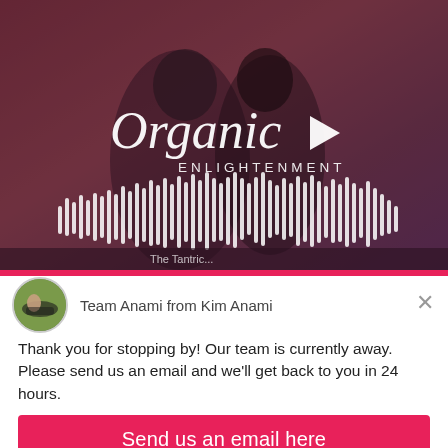[Figure (screenshot): Screenshot of Organic Enlightenment website/podcast page showing a video thumbnail with two people, play button, waveform audio visualization, and the 'Organic Enlightenment' logo in white text on a dark reddish-blurred background.]
Team Anami from Kim Anami
Thank you for stopping by! Our team is currently away. Please send us an email and we'll get back to you in 24 hours.
Send us an email here